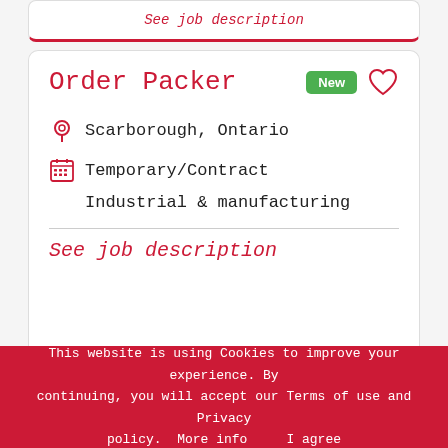See job description
Order Packer
Scarborough, Ontario
Temporary/Contract
Industrial & manufacturing
See job description
This website is using Cookies to improve your experience. By continuing, you will accept our Terms of use and Privacy policy.  More info     I agree